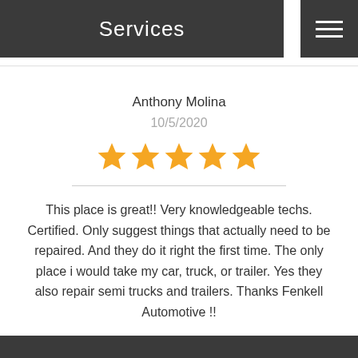Services
Anthony Molina
10/5/2020
[Figure (other): Five orange star rating icons]
This place is great!! Very knowledgeable techs. Certified. Only suggest things that actually need to be repaired. And they do it right the first time. The only place i would take my car, truck, or trailer. Yes they also repair semi trucks and trailers. Thanks Fenkell Automotive !!